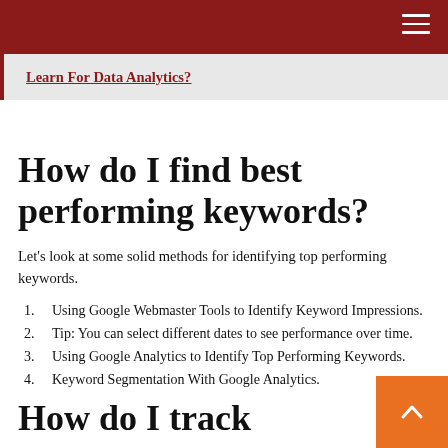Learn For Data Analytics?
How do I find best performing keywords?
Let's look at some solid methods for identifying top performing keywords.
Using Google Webmaster Tools to Identify Keyword Impressions.
Tip: You can select different dates to see performance over time.
Using Google Analytics to Identify Top Performing Keywords.
Keyword Segmentation With Google Analytics.
How do I track